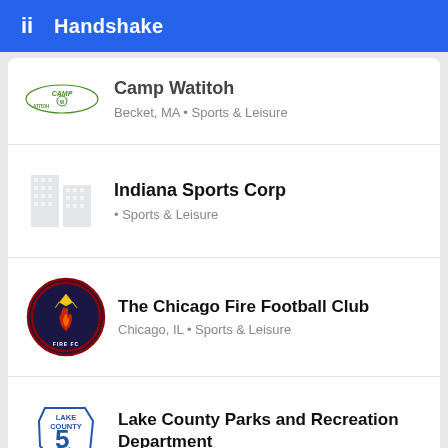Handshake
Camp Watitoh
Becket, MA • Sports & Leisure
Indiana Sports Corp
• Sports & Leisure
The Chicago Fire Football Club
Chicago, IL • Sports & Leisure
Lake County Parks and Recreation Department
Crown Point, IN • Sports & Leisure